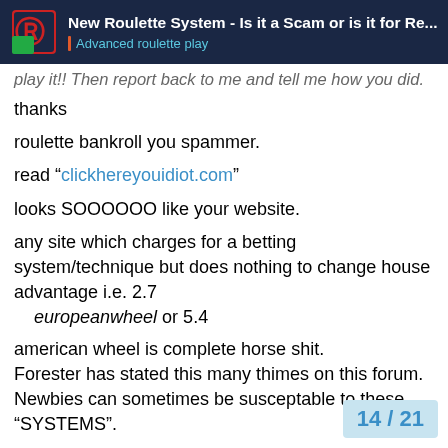New Roulette System - Is it a Scam or is it for Re... | Advanced roulette play
play it!! Then report back to me and tell me how you did.
thanks
roulette bankroll you spammer.
read “clickhereyouidiot.com”
looks SOOOOOO like your website.
any site which charges for a betting system/technique but does nothing to change house advantage i.e. 2.7 europeanwheel or 5.4
american wheel is complete horse shit. Forester has stated this many thimes on this forum. Newbies can sometimes be susceptable to these “SYSTEMS”.
Hey I 've got one for you.
Before you go into casino hop up and dow
14 / 21